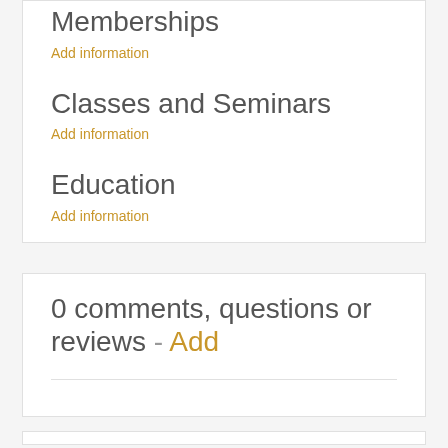Professional Associations and Memberships
Add information
Classes and Seminars
Add information
Education
Add information
0 comments, questions or reviews - Add